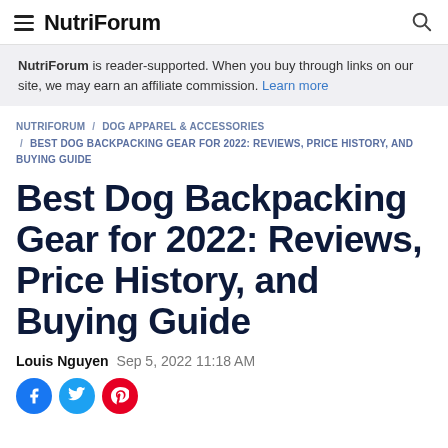NutriForum
NutriForum is reader-supported. When you buy through links on our site, we may earn an affiliate commission. Learn more
NUTRIFORUM / DOG APPAREL & ACCESSORIES / BEST DOG BACKPACKING GEAR FOR 2022: REVIEWS, PRICE HISTORY, AND BUYING GUIDE
Best Dog Backpacking Gear for 2022: Reviews, Price History, and Buying Guide
Louis Nguyen  Sep 5, 2022 11:18 AM